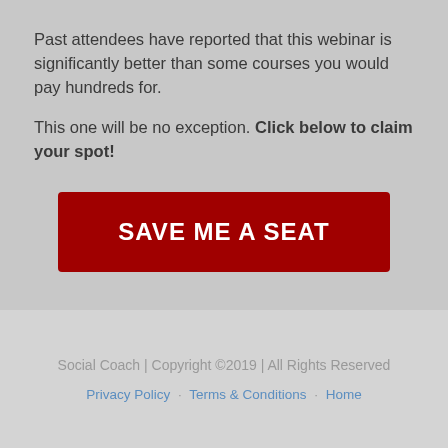Past attendees have reported that this webinar is significantly better than some courses you would pay hundreds for.
This one will be no exception. Click below to claim your spot!
[Figure (other): Red call-to-action button with white uppercase text reading SAVE ME A SEAT]
Social Coach | Copyright ©2019 | All Rights Reserved
Privacy Policy · Terms & Conditions · Home